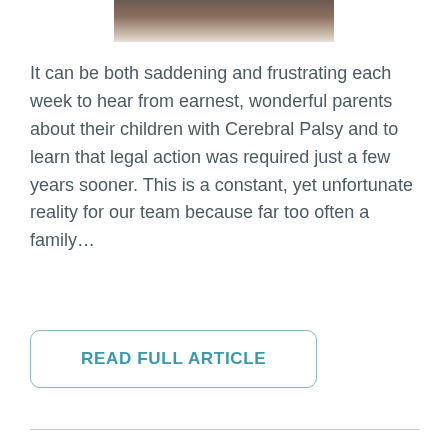[Figure (photo): Partial photo of a person reading, cropped at top of page]
It can be both saddening and frustrating each week to hear from earnest, wonderful parents about their children with Cerebral Palsy and to learn that legal action was required just a few years sooner. This is a constant, yet unfortunate reality for our team because far too often a family…
READ FULL ARTICLE